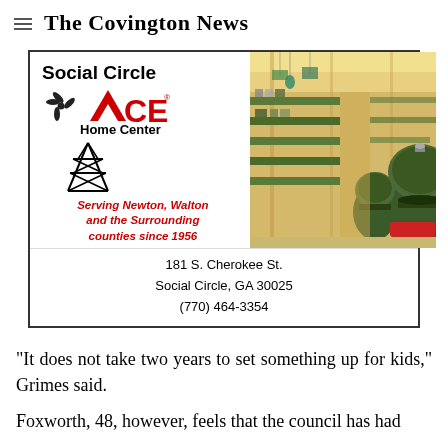The Covington News
[Figure (advertisement): Social Circle ACE Home Center advertisement with store logo, windmill/ACE branding, photo of store interior with green Big Green Egg grills, tagline 'Serving Newton, Walton and the Surrounding counties since 1956', address 181 S. Cherokee St., Social Circle, GA 30025, (770) 464-3354]
"It does not take two years to set something up for kids," Grimes said.
Foxworth, 48, however, feels that the council has had